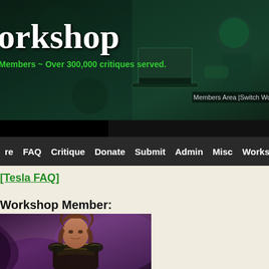[Figure (screenshot): Website header banner with dark teal/green fantasy background showing a person at a laptop and a robot/warrior figure. White serif title text 'orkshop' visible (partially cropped), green subtitle text 'Members ~ Over 300,000 critiques served.' Link text 'Members Area |Switch Workshop | R' visible at bottom right.]
Members Area |Switch Workshop | R
orkshop
Members ~ Over 300,000 critiques served.
re   FAQ   Critique   Donate   Submit   Admin   Misc   Workshops
[Tesla FAQ]
Workshop Member:
[Figure (photo): Photo of a person with long brown hair wearing dark fantasy armor, standing against a purple/dark background with dramatic lighting.]